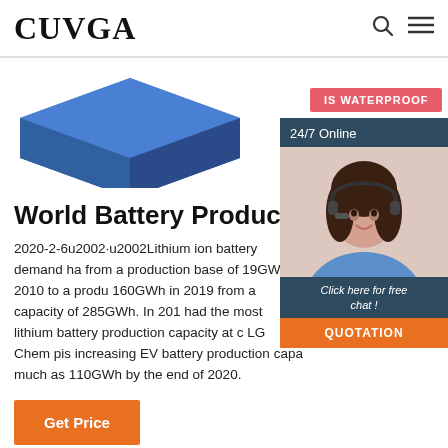CUVGA
[Figure (illustration): Blue geometric box/package illustration partially visible at top left]
[Figure (illustration): Pink/red badge with text IS WATERPROOF]
[Figure (photo): 24/7 Online chat sidebar panel with photo of woman wearing headset smiling, with Click here for free chat text and QUOTATION button]
World Battery Production
2020-2-6u2002·u2002Lithium ion battery demand ha from a production base of 19GWh in 2010 to a produ 160GWh in 2019 from a capacity of 285GWh. In 201 had the most lithium battery production capacity at c LG Chem pis increasing EV battery production capa much as 110GWh by the end of 2020.
Get Price